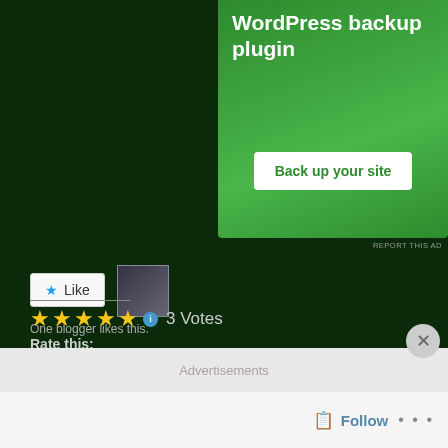[Figure (screenshot): Green advertisement banner for WordPress backup plugin with 'Back up your site' button]
REPORT THIS AD
Rate this:  ★★★★★  3 Votes
Share this:
Tweet  Email  More
Like
One blogger likes this.
Advertisements
Follow  ...